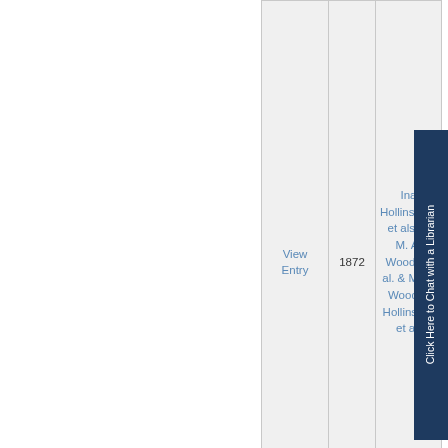| Action | Year | Case Name |
| --- | --- | --- |
| View Entry | 1872 | Ina Hollinsworth, et als. v. M. A. Wood, et al. & M. A. Wood v. Hollinsw... et al. |
| View Entry | 1841 | James W. Burger v. William Stone, e... |
|  |  |  |